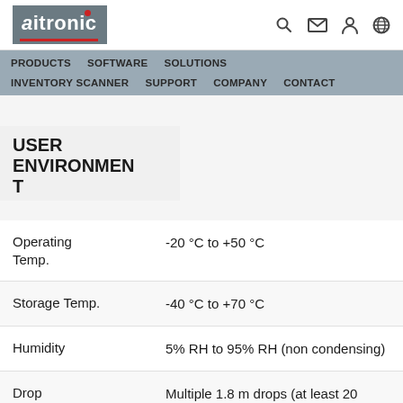aitronic — PRODUCTS  SOFTWARE  SOLUTIONS  INVENTORY SCANNER  SUPPORT  COMPANY  CONTACT
USER ENVIRONMENT
| Property | Value |
| --- | --- |
| Operating Temp. | -20 °C to +50 °C |
| Storage Temp. | -40 °C to +70 °C |
| Humidity | 5% RH to 95% RH (non condensing) |
| Drop Specification | Multiple 1.8 m drops (at least 20 times) to the concrete across the operating temperature range |